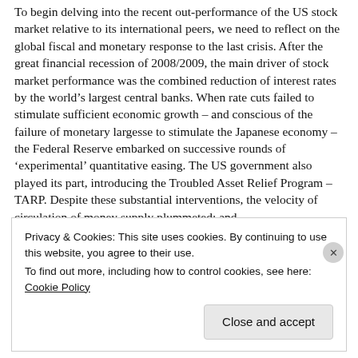To begin delving into the recent out-performance of the US stock market relative to its international peers, we need to reflect on the global fiscal and monetary response to the last crisis. After the great financial recession of 2008/2009, the main driver of stock market performance was the combined reduction of interest rates by the world's largest central banks. When rate cuts failed to stimulate sufficient economic growth – and conscious of the failure of monetary largesse to stimulate the Japanese economy – the Federal Reserve embarked on successive rounds of 'experimental' quantitative easing. The US government also played its part, introducing the Troubled Asset Relief Program – TARP. Despite these substantial interventions, the velocity of circulation of money supply plummeted: and,
Privacy & Cookies: This site uses cookies. By continuing to use this website, you agree to their use.
To find out more, including how to control cookies, see here: Cookie Policy
Close and accept